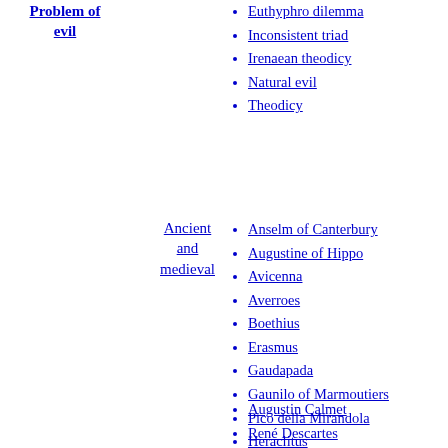Problem of evil
Euthyphro dilemma
Inconsistent triad
Irenaean theodicy
Natural evil
Theodicy
Ancient and medieval
Anselm of Canterbury
Augustine of Hippo
Avicenna
Averroes
Boethius
Erasmus
Gaudapada
Gaunilo of Marmoutiers
Pico della Mirandola
Heraclitus
King James VI and I
Marcion of Sinope
Maimonides
Adi Shankara
Thomas Aquinas
Augustin Calmet
René Descartes
Blaise Pascal